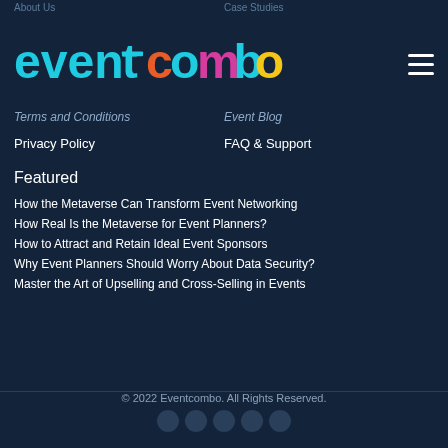[Figure (logo): Eventcombo logo with colorful letters on dark background]
About Us
Case Studies
Terms and Conditions
Event Blog
Privacy Policy
FAQ & Support
Featured
How the Metaverse Can Transform Event Networking
How Real Is the Metaverse for Event Planners?
How to Attract and Retain Ideal Event Sponsors
Why Event Planners Should Worry About Data Security?
Master the Art of Upselling and Cross-Selling in Events
© 2022 Eventcombo. All Rights Reserved.